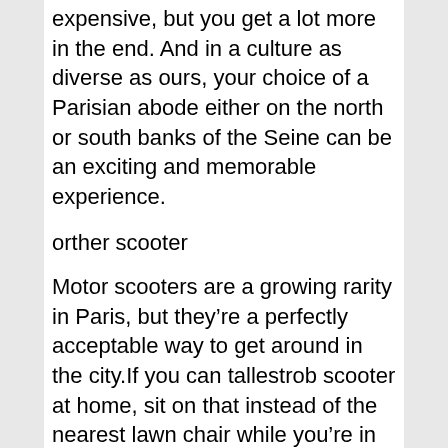expensive, but you get a lot more in the end. And in a culture as diverse as ours, your choice of a Parisian abode either on the north or south banks of the Seine can be an exciting and memorable experience.
orther scooter
Motor scooters are a growing rarity in Paris, but they're a perfectly acceptable way to get around in the city.If you can tallestrob scooter at home, sit on that instead of the nearest lawn chair while you're in Paris. Three wheels hurtles you forward, effortlessly keeping your